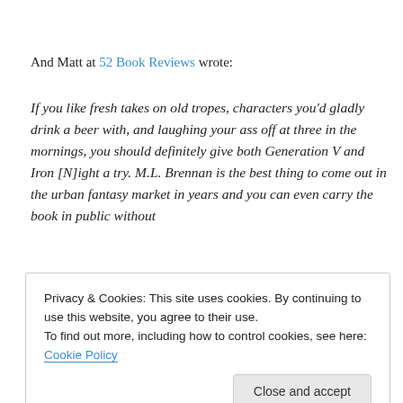And Matt at 52 Book Reviews wrote:
If you like fresh takes on old tropes, characters you'd gladly drink a beer with, and laughing your ass off at three in the mornings, you should definitely give both Generation V and Iron [N]ight a try. M.L. Brennan is the best thing to come out in the urban fantasy market in years and you can even carry the book in public without
Privacy & Cookies: This site uses cookies. By continuing to use this website, you agree to their use.
To find out more, including how to control cookies, see here: Cookie Policy
Close and accept